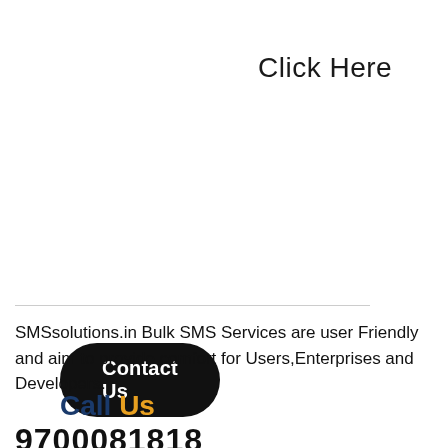Click Here
[Figure (other): Black rounded button labeled 'Contact Us']
SMSsolutions.in Bulk SMS Services are user Friendly and aim to provide comfort for Users,Enterprises and Developers.
Call Us
9700081818